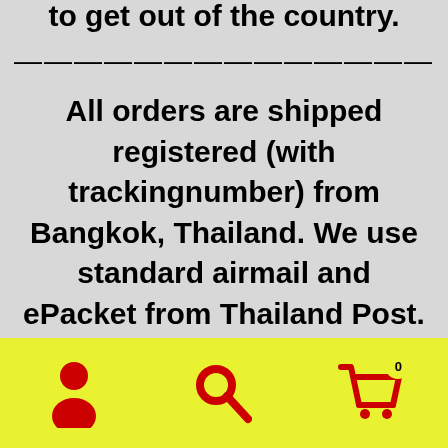to get out of the country.
——————————————
All orders are shipped registered (with trackingnumber) from Bangkok, Thailand. We use standard airmail and ePacket from Thailand Post.
ePacket is normally a faster option with shipping times said to be
[Figure (infographic): Mobile app bottom navigation bar with yellow background containing three red icons: user/person icon, search/magnifying glass icon, and shopping cart icon with badge showing 0]